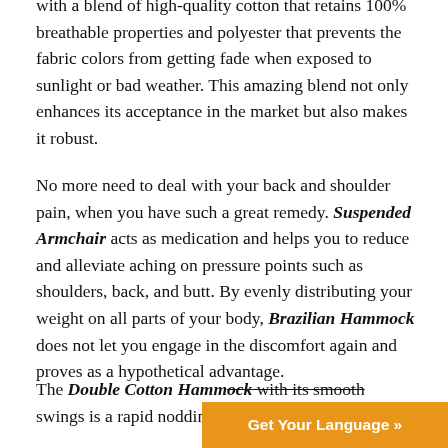with a blend of high-quality cotton that retains 100% breathable properties and polyester that prevents the fabric colors from getting fade when exposed to sunlight or bad weather. This amazing blend not only enhances its acceptance in the market but also makes it robust.
No more need to deal with your back and shoulder pain, when you have such a great remedy. Suspended Armchair acts as medication and helps you to reduce and alleviate aching on pressure points such as shoulders, back, and butt. By evenly distributing your weight on all parts of your body, Brazilian Hammock does not let you engage in the discomfort again and proves as a hypothetical advantage.
The Double Cotton Hammock with its smooth swings is a rapid nodding-c...
[Figure (other): Orange banner button with text 'Get Your Language »']